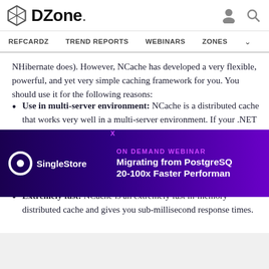DZone. | REFCARDZ  TREND REPORTS  WEBINARS  ZONES
NHibernate does). However, NCache has developed a very flexible, powerful, and yet very simple caching framework for you. You should use it for the following reasons:
Use in multi-server environment: NCache is a distributed cache that works very well in a multi-server environment. If your .NET Core application is high transaction, the chances are that it is running in a multi-server environment where only NCache will work for you.
Extremely fast: NCache is an extremely fast in-memory distributed cache and gives you sub-millisecond response times.
[Figure (screenshot): Advertisement banner for SingleStore: ON DEMAND WEBINAR - Migrating from PostgreSQL, 20-100x Faster Performance]